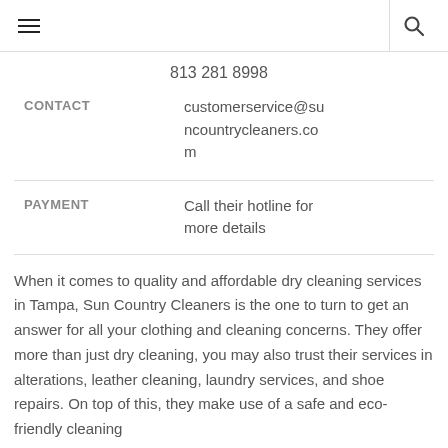hamburger menu | search icon
813 281 8998
| CONTACT |  |
| --- | --- |
| CONTACT | customerservice@suncountrycleaners.com |
| PAYMENT |  |
| --- | --- |
| PAYMENT | Call their hotline for more details |
When it comes to quality and affordable dry cleaning services in Tampa, Sun Country Cleaners is the one to turn to get an answer for all your clothing and cleaning concerns. They offer more than just dry cleaning, you may also trust their services in alterations, leather cleaning, laundry services, and shoe repairs. On top of this, they make use of a safe and eco-friendly cleaning